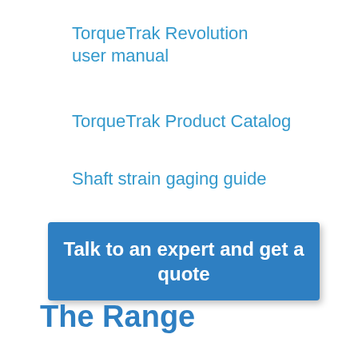TorqueTrak Revolution user manual
TorqueTrak Product Catalog
Shaft strain gaging guide
Talk to an expert and get a quote
The Range